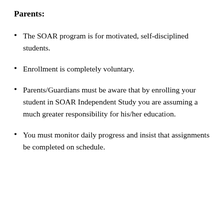Parents:
The SOAR program is for motivated, self-disciplined students.
Enrollment is completely voluntary.
Parents/Guardians must be aware that by enrolling your student in SOAR Independent Study you are assuming a much greater responsibility for his/her education.
You must monitor daily progress and insist that assignments be completed on schedule.